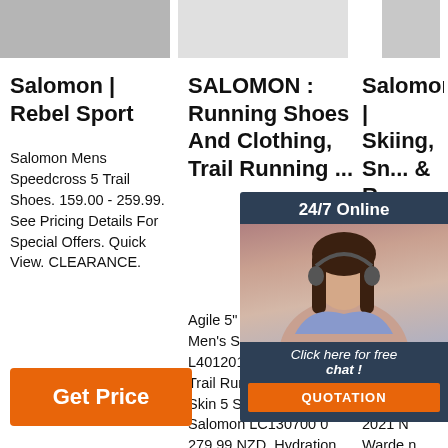[Figure (photo): Top row of product images: left shows a Salomon shoe (grey/black), middle is a blank/light product image, right shows a Salomon product (grey cylinder/bottle)]
Salomon | Rebel Sport
SALOMON : Running Shoes And Clothing, Trail Running ...
Salomon | Skiing, Sn... & R... Ge...
Salomon Mens Speedcross 5 Trail Shoes. 159.00 - 259.99. See Pricing Details For Special Offers. Quick View. CLEARANCE.
Agile 5" Running Short Men's Salomon L40120100 69.99 NZD. Trail Running Packs. Adv Skin 5 Set Hydration Pack Salomon LC130700 0 279.99 NZD. Hydration. Soft Fla
202... RO... s - ... ue/B... 9.6... months. Salomon 2021 N Warden MNC 1T...Bi ndings - Oil Green. New In. Salom
[Figure (photo): Chat overlay with a woman wearing a headset, dark blue background, '24/7 Online' text, 'Click here for free chat!' text, and an orange QUOTATION button]
Get Price
TOP